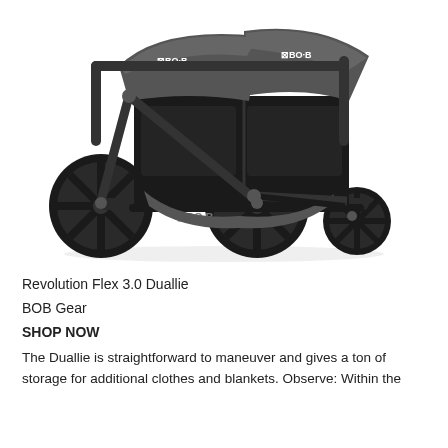[Figure (photo): BOB Gear Revolution Flex 3.0 Duallie double jogging stroller in black and gray, shown from a front-side angle with three large black spoked wheels, dual canopy with BOB logo, and storage basket underneath.]
Revolution Flex 3.0 Duallie
BOB Gear
SHOP NOW
The Duallie is straightforward to maneuver and gives a ton of storage for additional clothes and blankets. Observe: Within the